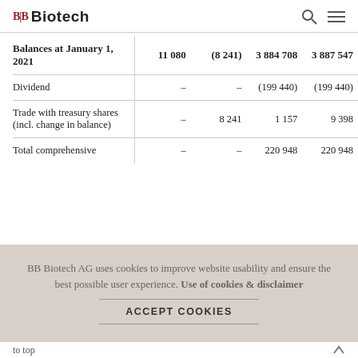BB Biotech
|  |  |  |  |  |
| --- | --- | --- | --- | --- |
| Balances at January 1, 2021 | 11 080 | (8 241) | 3 884 708 | 3 887 547 |
| Dividend | – | – | (199 440) | (199 440) |
| Trade with treasury shares (incl. change in balance) | – | 8 241 | 1 157 | 9 398 |
| Total comprehensive | – | – | 220 948 | 220 948 |
BB Biotech AG uses cookies to improve website usability and ensure the best possible user experience. Use of cookies & disclaimer
ACCEPT COOKIES
to top